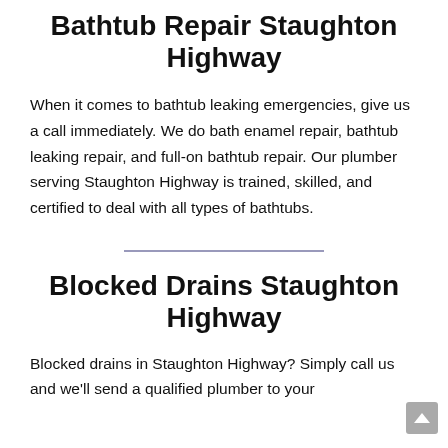Bathtub Repair Staughton Highway
When it comes to bathtub leaking emergencies, give us a call immediately. We do bath enamel repair, bathtub leaking repair, and full-on bathtub repair. Our plumber serving Staughton Highway is trained, skilled, and certified to deal with all types of bathtubs.
Blocked Drains Staughton Highway
Blocked drains in Staughton Highway? Simply call us and we'll send a qualified plumber to your